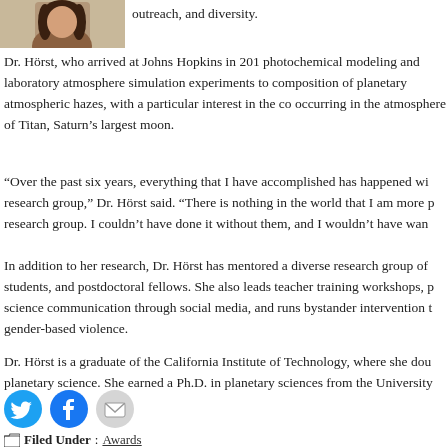[Figure (photo): Partial photo of Dr. Hörst, cropped woman with dark hair]
outreach, and diversity.
Dr. Hörst, who arrived at Johns Hopkins in 201 photochemical modeling and laboratory atmosphere simulation experiments to composition of planetary atmospheric hazes, with a particular interest in the co occurring in the atmosphere of Titan, Saturn's largest moon.
“Over the past six years, everything that I have accomplished has happened wi research group,” Dr. Hörst said. “There is nothing in the world that I am more p research group. I couldn’t have done it without them, and I wouldn’t have wan
In addition to her research, Dr. Hörst has mentored a diverse research group of students, and postdoctoral fellows. She also leads teacher training workshops, p science communication through social media, and runs bystander intervention t gender-based violence.
Dr. Hörst is a graduate of the California Institute of Technology, where she dou planetary science. She earned a Ph.D. in planetary sciences from the University
[Figure (illustration): Social media sharing icons: Twitter (blue bird), Facebook (blue f), Email (grey envelope)]
Filed Under: Awards